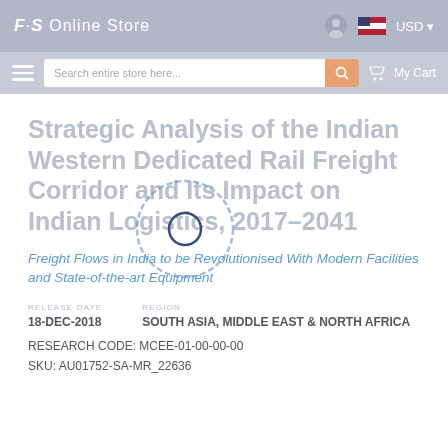F·S Online Store
[Figure (screenshot): Online store navigation bar with search field, user icon, flag/currency selector (USD), and My Cart button]
Strategic Analysis of the Indian Western Dedicated Rail Freight Corridor and Its Impact on Indian Logistics, 2017–2041
Freight Flows in India to be Revolutionised With Modern Facilities and State-of-the-art Equipment
RELEASE DATE
18-DEC-2018
REGION
SOUTH ASIA, MIDDLE EAST & NORTH AFRICA
RESEARCH CODE: MCEE-01-00-00-00
SKU: AU01752-SA-MR_22636